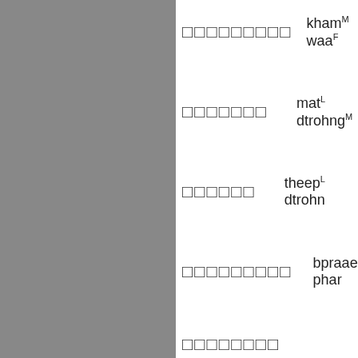[Figure (other): Gray sidebar column (top section)]
□□□□□□□□□  khamM waaF
□□□□□□□  matL dtrohngM
□□□□□□  theepL dtrohn
□□□□□□□□□  bpraaeM phar
□□□□□□□□  tho:hM raH sa... dtrohngM
[Figure (other): Gray sidebar column (bottom section)]
□□□□□□□□□□□□□□□□  naiR jepL dtrohngM naiR mangF "Let's see... where are you hu
□□□□□□□□□□□□  □□□□□□□  bpaiM haaR aL raiM ginM saH laaeoH saamR thoomF dtrohngM "Go and have some food and..."